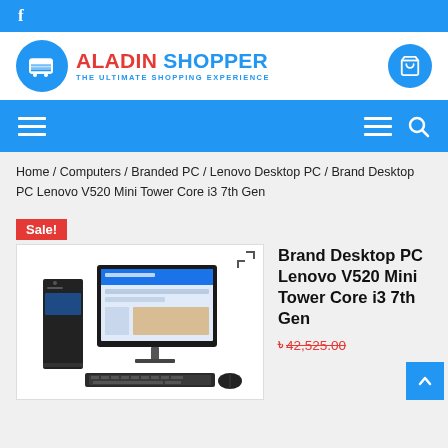f
[Figure (logo): Aladin Shopper logo with blue shopping cart icon, text ALADIN in red and SHOPPER in blue, tagline THE ULTIMATE SHOPPING EXPERIENCE]
Home / Computers / Branded PC / Lenovo Desktop PC / Brand Desktop PC Lenovo V520 Mini Tower Core i3 7th Gen
[Figure (photo): Lenovo V520 Mini Tower desktop PC with monitor, keyboard and mouse]
Brand Desktop PC Lenovo V520 Mini Tower Core i3 7th Gen
৳ 42,525.00